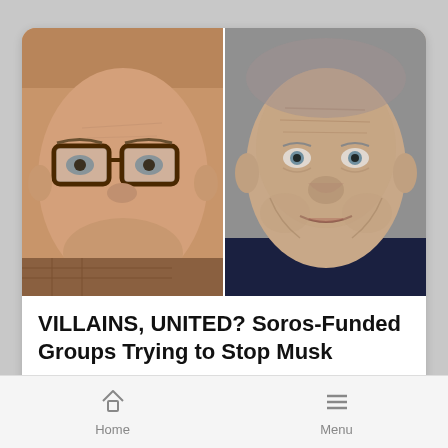[Figure (photo): Screenshot of a mobile news app card showing two photos side by side of public figures, with article headline, author, and category. Left photo: older man with glasses. Right photo: elderly man in dark suit.]
VILLAINS, UNITED? Soros-Funded Groups Trying to Stop Musk
Jeffrey Clark
Business
Home   Menu